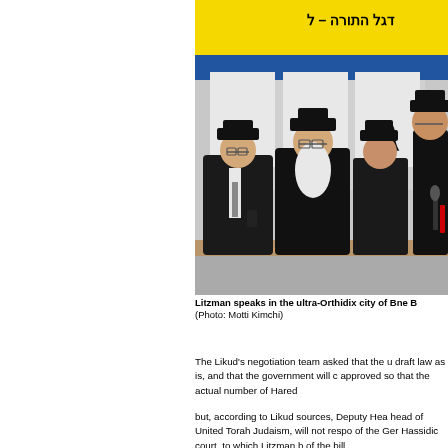[Figure (photo): Four Orthodox Jewish men in black suits and black hats seated at a table with food. Behind them is a blue and yellow banner with Hebrew text reading 'Degel HaTorah'. The man in the center has a long white beard. Microphones are visible on the right side.]
Litzman speaks in the ultra-Orthidix city of Bne B (Photo: Motti Kimchi)
The Likud's negotiation team asked that the u draft law as is, and that the government will c approved so that the actual number of Hared
but, according to Likud sources, Deputy Hea head of United Torah Judaism, will not respo of the Ger Hassidic court, to which Litzman b of the bill.